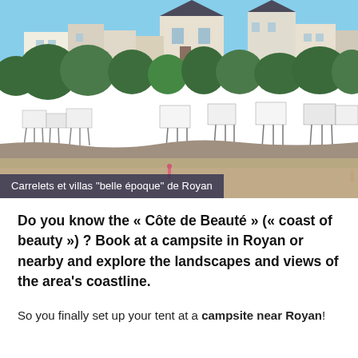[Figure (photo): Coastal photo showing carrelets (traditional fishing huts on stilts) and belle époque villas along the waterfront of Royan, France. Buildings and villas visible behind dense green trees, with sandy beach and water in foreground.]
Carrelets et villas "belle époque" de Royan
Do you know the « Côte de Beauté » (« coast of beauty ») ? Book at a campsite in Royan or nearby and explore the landscapes and views of the area's coastline.
So you finally set up your tent at a campsite near Royan!